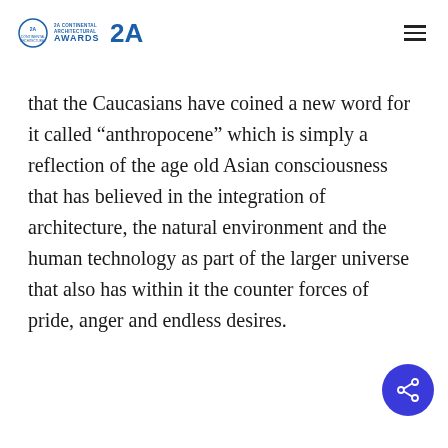2A Continental Architectural Awards logo and navigation
that the Caucasians have coined a new word for it called “anthropocene” which is simply a reflection of the age old Asian consciousness that has believed in the integration of architecture, the natural environment and the human technology as part of the larger universe that also has within it the counter forces of pride, anger and endless desires.